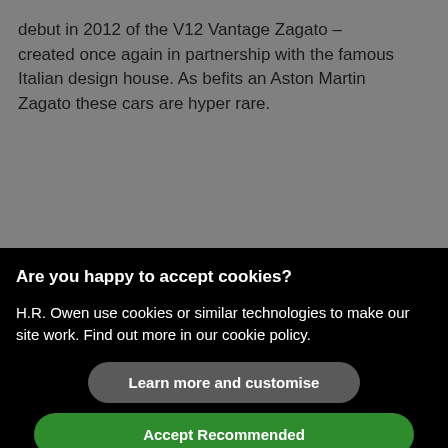debut in 2012 of the V12 Vantage Zagato – created once again in partnership with the famous Italian design house. As befits an Aston Martin Zagato these cars are hyper rare.
Are you happy to accept cookies?
H.R. Owen use cookies or similar technologies to make our site work. Find out more in our cookie policy.
Learn more and customise
Accept Recommended